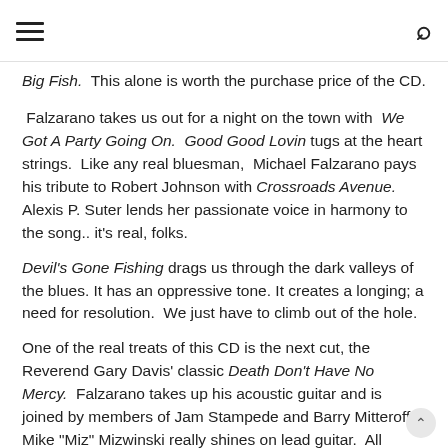[hamburger menu icon] [search icon]
Big Fish.  This alone is worth the purchase price of the CD.
Falzarano takes us out for a night on the town with We Got A Party Going On.  Good Good Lovin tugs at the heart strings.  Like any real bluesman,  Michael Falzarano pays his tribute to Robert Johnson with Crossroads Avenue. Alexis P. Suter lends her passionate voice in harmony to the song.. it's real, folks.
Devil's Gone Fishing drags us through the dark valleys of the blues. It has an oppressive tone. It creates a longing; a need for resolution.  We just have to climb out of the hole.
One of the real treats of this CD is the next cut, the Reverend Gary Davis' classic Death Don't Have No Mercy.  Falzarano takes up his acoustic guitar and is joined by members of Jam Stampede and Barry Mitteroff.  Mike "Miz" Mizwinski really shines on lead guitar.  All around it is a stellar performance.  The next to last cut, and the last song written by Michael Falzarno, is Trouble.  It's a fun,